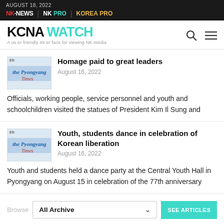AUGUST 18, 2022 | NK NEWS | NK PRO | KOREA PRO
KCNA WATCH — A user friendly interface for viewing NK media
[Figure (illustration): Pyongyang Times thumbnail image with EN label]
Homage paid to great leaders
August 16, 2022
Officials, working people, service personnel and youth and schoolchildren visited the statues of President Kim Il Sung and
[Figure (illustration): Pyongyang Times thumbnail image with EN label]
Youth, students dance in celebration of Korean liberation
August 16, 2022
Youth and students held a dance party at the Central Youth Hall in Pyongyang on August 15 in celebration of the 77th anniversary
Browse | All Archive | SEE ARTICLES
More Articles